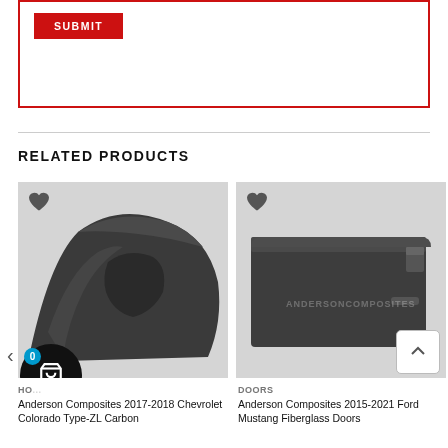[Figure (screenshot): Red-bordered form box with a red SUBMIT button]
RELATED PRODUCTS
[Figure (photo): Anderson Composites carbon fiber hood for 2017-2018 Chevrolet Colorado, dark gray, shown at angle on white background]
Anderson Composites 2017-2018 Chevrolet Colorado Type-ZL Carbon
[Figure (photo): Anderson Composites fiberglass door panel for 2015-2021 Ford Mustang, dark gray, shown on white background with watermark]
DOORS
Anderson Composites 2015-2021 Ford Mustang Fiberglass Doors